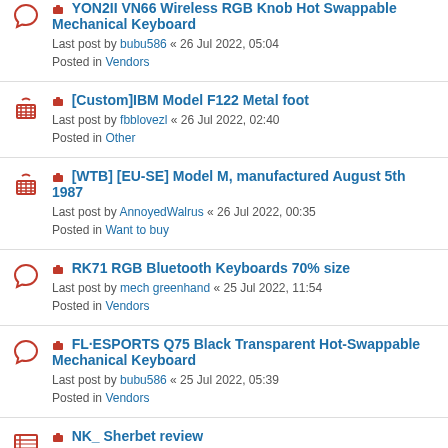YON2II VN66 Wireless RGB Knob Hot Swappable Mechanical Keyboard
Last post by bubu586 « 26 Jul 2022, 05:04
Posted in Vendors
[Custom]IBM Model F122 Metal foot
Last post by fbblovezl « 26 Jul 2022, 02:40
Posted in Other
[WTB] [EU-SE] Model M, manufactured August 5th 1987
Last post by AnnoyedWalrus « 26 Jul 2022, 00:35
Posted in Want to buy
RK71 RGB Bluetooth Keyboards 70% size
Last post by mech greenhand « 25 Jul 2022, 11:54
Posted in Vendors
FL·ESPORTS Q75 Black Transparent Hot-Swappable Mechanical Keyboard
Last post by bubu586 « 25 Jul 2022, 05:39
Posted in Vendors
NK_ Sherbet review
Last post by ...